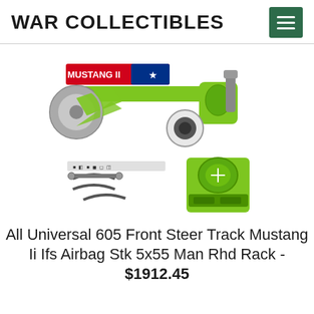WAR COLLECTIBLES
[Figure (photo): Product photo of a Mustang II IFS front suspension kit with green powder-coated components, disc brake rotor, air bag, and various hardware parts. A red and blue 'MUSTANG II' badge label is visible at the top.]
All Universal 605 Front Steer Track Mustang Ii Ifs Airbag Stk 5x55 Man Rhd Rack - $1912.45